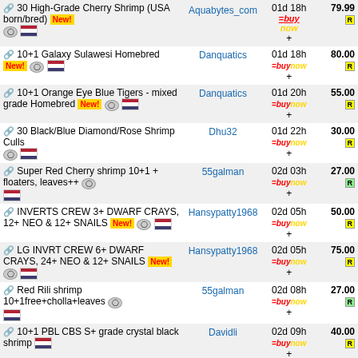| Item | Seller | Time | Price |
| --- | --- | --- | --- |
| 30 High-Grade Cherry Shrimp (USA born/bred) [New!] | Aquabytes_com | 01d 18h + | 79.99 |
| 10+1 Galaxy Sulawesi Homebred [New!] | Danquatics | 01d 18h + | 80.00 |
| 10+1 Orange Eye Blue Tigers - mixed grade Homebred [New!] | Danquatics | 01d 20h + | 55.00 |
| 30 Black/Blue Diamond/Rose Shrimp Culls | Dhu32 | 01d 22h + | 30.00 |
| Super Red Cherry shrimp 10+1 + floaters, leaves++ | 55galman | 02d 03h + | 27.00 |
| INVERTS CREW 3+ DWARF CRAYS, 12+ NEO & 12+ SNAILS [New!] | Hansypatty1968 | 02d 05h + | 50.00 |
| LG INVRT CREW 6+ DWARF CRAYS, 24+ NEO & 12+ SNAILS [New!] | Hansypatty1968 | 02d 05h + | 75.00 |
| Red Rili shrimp 10+1free+cholla+leaves | 55galman | 02d 08h + | 27.00 |
| 10+1 PBL CBS S+ grade crystal black shrimp | Davidli | 02d 09h + | 40.00 |
| 10+2 Neocaridina Blue... | Lilshrimp | 02d 09h + | 35.00 |